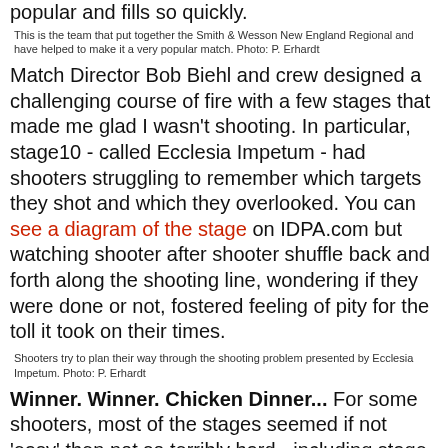popular and fills so quickly.
This is the team that put together the Smith & Wesson New England Regional and have helped to make it a very popular match. Photo: P. Erhardt
Match Director Bob Biehl and crew designed a challenging course of fire with a few stages that made me glad I wasn't shooting. In particular, stage10 - called Ecclesia Impetum - had shooters struggling to remember which targets they shot and which they overlooked. You can see a diagram of the stage on IDPA.com but watching shooter after shooter shuffle back and forth along the shooting line, wondering if they were done or not, fostered feeling of pity for the toll it took on their times.
Shooters try to plan their way through the shooting problem presented by Ecclesia Impetum. Photo: P. Erhardt
Winner. Winner. Chicken Dinner... For some shooters, most of the stages seemed if not 'easy' then not so terribly hard - including stage 10. These of course would be the title winners. And chief among them was Tom Yost who posted the overall fastest time (273.69) on his way to collecting the Enhanced Service Pistol title, along with High Senior and High Industry. Craig Buckland posted the third fastest time in the match (291.25) to take the Custom Defensive Pistol title for the second year in a row. David Dolio, with the sixth